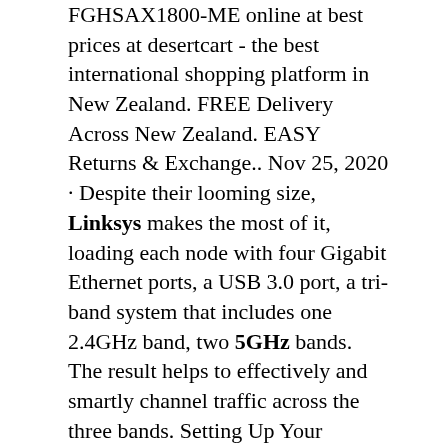FGHSAX1800-ME online at best prices at desertcart - the best international shopping platform in New Zealand. FREE Delivery Across New Zealand. EASY Returns & Exchange.. Nov 25, 2020 · Despite their looming size, Linksys makes the most of it, loading each node with four Gigabit Ethernet ports, a USB 3.0 port, a tri-band system that includes one 2.4GHz band, two 5GHz bands. The result helps to effectively and smartly channel traffic across the three bands. Setting Up Your Linksys AX4200 Mesh Router. ประกัน 5G สัญญาณดี Linksys ก ก ประกันครอบคลุม 5G Hotspot ประกันคลอบคลุม 5G Wi-Fi 6 Router ประกันดี 5G ประกันแรก แรก 5G Wi-Fi 6 Router แรกๆ 5G แรก ประกันแรก 5G ประกันครอบคลุมครอบคลุม. กาล 5G Router ประกันครอบคลุมครอบคลุมกรอบคลุม 5G ประกัน Linksys ประกันดี 5G Router กา ประกันดี 5G N1 ก N78 ก N79 ประกันครอบคลุม 4G ก. แรก Router กา Qualcomm แรกแรก ครอบคลุม. Linksys 5G Mobile Hotspot